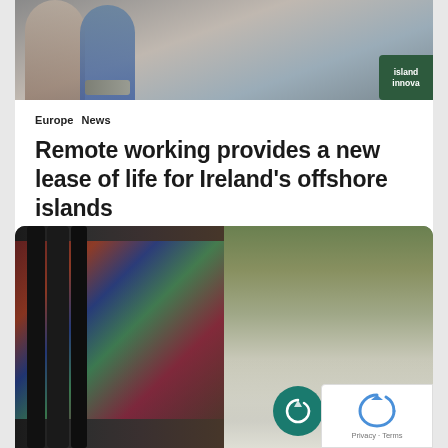[Figure (photo): Two people in what appears to be a kitchen or cafe setting, one wearing an apron and holding a tray of pastries. Island Innova badge visible in corner.]
Europe  News
Remote working provides a new lease of life for Ireland's offshore islands
[Figure (photo): Left side shows large black industrial pipes with colorful graffiti. Right side shows a flooded narrow road or lane with green vegetation and sunlight filtering through trees.]
Privacy · Terms